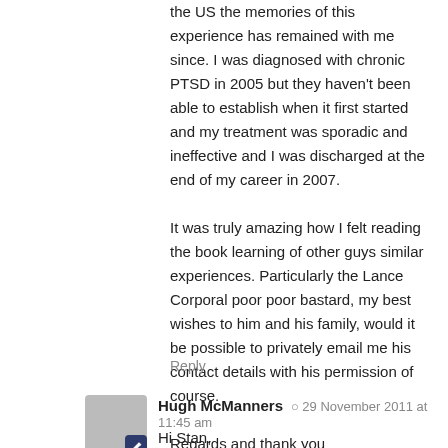the US the memories of this experience has remained with me since. I was diagnosed with chronic PTSD in 2005 but they haven't been able to establish when it first started and my treatment was sporadic and ineffective and I was discharged at the end of my career in 2007.
It was truly amazing how I felt reading the book learning of other guys similar experiences. Particularly the Lance Corporal poor poor bastard, my best wishes to him and his family, would it be possible to privately email me his contact details with his permission of course.

Regards and thank you

Stan
Reply
Hugh McManners  29 November 2011 at 11:45 am
Hi Stan,
I sent you a private email back in August, and also sent your message on to Roy Sellstrom (the lance corporal you